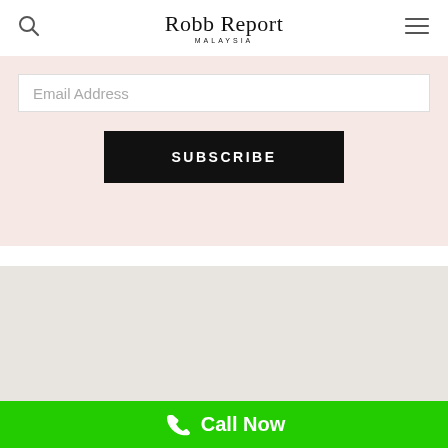Robb Report Malaysia
Email Address
SUBSCRIBE
[Figure (logo): Robb Report RR monogram logo emblem with decorative border and star/arrow ornaments]
Stay in touch with the latest in luxury
Call Now